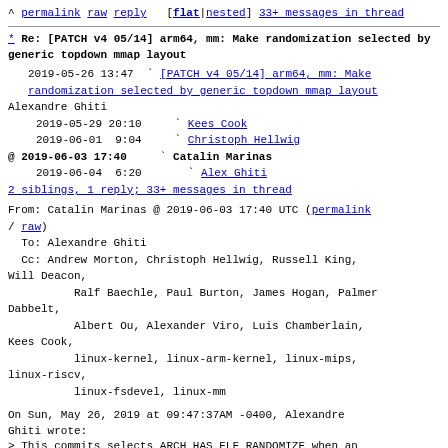^ permalink raw reply  [flat|nested] 33+ messages in thread
* Re: [PATCH v4 05/14] arm64, mm: Make randomization selected by generic topdown mmap layout
2019-05-26 13:47 ` [PATCH v4 05/14] arm64, mm: Make randomization selected by generic topdown mmap layout
Alexandre Ghiti
  2019-05-29 20:10   ` Kees Cook
  2019-06-01  9:04   ` Christoph Hellwig
@ 2019-06-03 17:40   ` Catalin Marinas
  2019-06-04  6:20     ` Alex Ghiti
  2 siblings, 1 reply; 33+ messages in thread
From: Catalin Marinas @ 2019-06-03 17:40 UTC (permalink / raw)
To: Alexandre Ghiti
Cc: Andrew Morton, Christoph Hellwig, Russell King, Will Deacon,
        Ralf Baechle, Paul Burton, James Hogan, Palmer Dabbelt,
        Albert Ou, Alexander Viro, Luis Chamberlain, Kees Cook,
        linux-kernel, linux-arm-kernel, linux-mips, linux-riscv,
        linux-fsdevel, linux-mm
On Sun, May 26, 2019 at 09:47:37AM -0400, Alexandre Ghiti wrote:
> This commits selects ARCH_HAS_ELF_RANDOMIZE when an